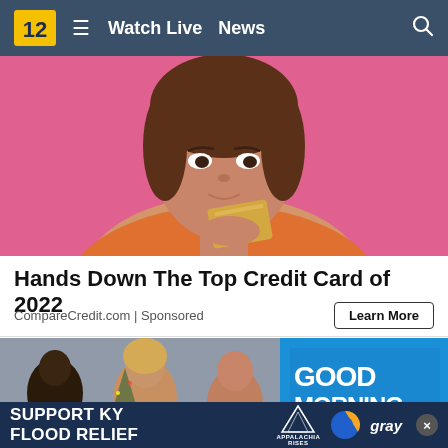12 | Watch Live  News
[Figure (photo): Young woman with brown hair holding a gold credit card against pink background]
Hands Down The Top Credit Card of 2022
CompareCredit.com | Sponsored
[Figure (photo): Good Morning America TV show hosts on set, with GOOD MORNING AMERICA logo visible]
SUPPORT KY FLOOD RELIEF | APPALACHIA RISES | gray